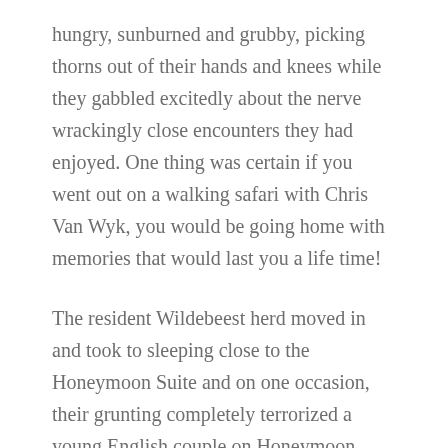hungry, sunburned and grubby, picking thorns out of their hands and knees while they gabbled excitedly about the nerve wrackingly close encounters they had enjoyed. One thing was certain if you went out on a walking safari with Chris Van Wyk, you would be going home with memories that would last you a life time!
The resident Wildebeest herd moved in and took to sleeping close to the Honeymoon Suite and on one occasion, their grunting completely terrorized a young English couple on Honeymoon. They had no clue what was making all that noise and after a sleepless night (and one imagines not much romance), they demanded an immediate transfer back to the safety of civilization AND a full refund in compensation for their terrifying night!